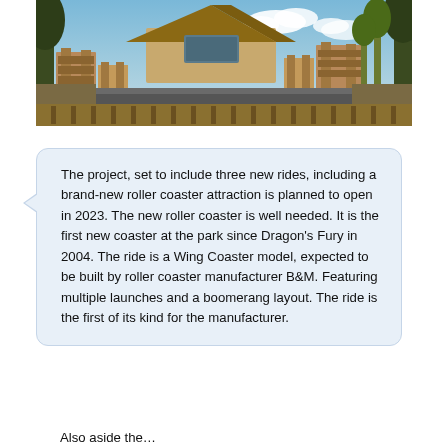[Figure (photo): A theme park area with wooden structures, bamboo fencing, thatched roof buildings, a pathway, tropical trees, and a partly cloudy sky — resembling a jungle or safari-themed area under construction or recently built.]
The project, set to include three new rides, including a brand-new roller coaster attraction is planned to open in 2023. The new roller coaster is well needed. It is the first new coaster at the park since Dragon's Fury in 2004. The ride is a Wing Coaster model, expected to be built by roller coaster manufacturer B&M. Featuring multiple launches and a boomerang layout. The ride is the first of its kind for the manufacturer.
Also aside the…